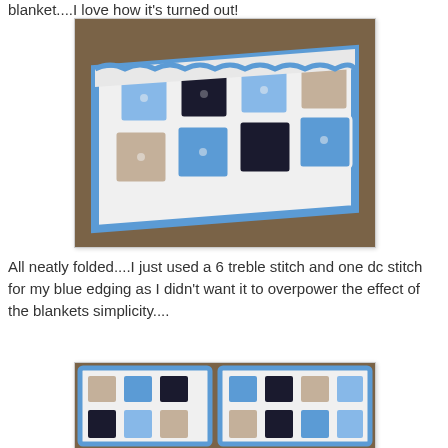blanket....I love how it's turned out!
[Figure (photo): A crocheted blanket neatly folded, showing a granny square pattern with blue, dark navy, beige/brown, and light blue squares on a white background with blue edging, laid on a wooden surface.]
All neatly folded....I just used a 6 treble stitch and one dc stitch for my blue edging as I didn't want it to overpower the effect of the blankets simplicity....
[Figure (photo): Two crocheted blankets laid out flat on a wooden surface, showing granny square patterns with blue, dark navy, beige/tan, and light blue squares on a white background with blue edging.]